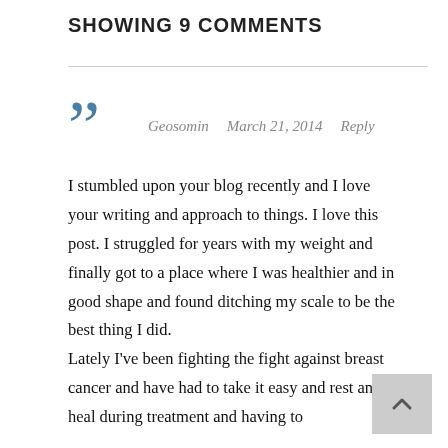SHOWING 9 COMMENTS
Geosomin   March 21, 2014   Reply
I stumbled upon your blog recently and I love your writing and approach to things. I love this post. I struggled for years with my weight and finally got to a place where I was healthier and in good shape and found ditching my scale to be the best thing I did.
Lately I've been fighting the fight against breast cancer and have had to take it easy and rest and heal during treatment and having to